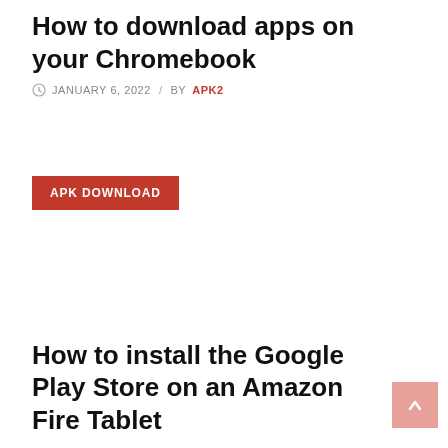How to download apps on your Chromebook
JANUARY 6, 2022 / BY APK2
APK DOWNLOAD
How to install the Google Play Store on an Amazon Fire Tablet